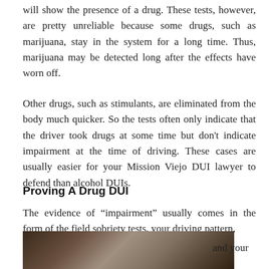will show the presence of a drug. These tests, however, are pretty unreliable because some drugs, such as marijuana, stay in the system for a long time. Thus, marijuana may be detected long after the effects have worn off.
Other drugs, such as stimulants, are eliminated from the body much quicker. So the tests often only indicate that the driver took drugs at some time but don't indicate impairment at the time of driving. These cases are usually easier for your Mission Viejo DUI lawyer to defend than alcohol DUIs.
Proving A Drug DUI
The evidence of “impairment” usually comes in the form of the field sobriety tests, your driving pattern, and your
[Figure (photo): A photograph at the bottom of the page, partially visible, showing an object on a dark background]